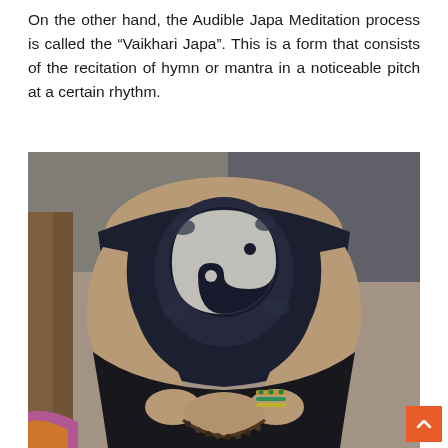On the other hand, the Audible Japa Meditation process is called the “Vaikhari Japa”. This is a form that consists of the recitation of hymn or mantra in a noticeable pitch at a certain rhythm.
[Figure (photo): A person seated cross-legged wearing a dark t-shirt with a yin-yang elephant print and black pants, holding prayer beads (mala) with colorful bracelets on wrist, engaged in Japa meditation practice.]